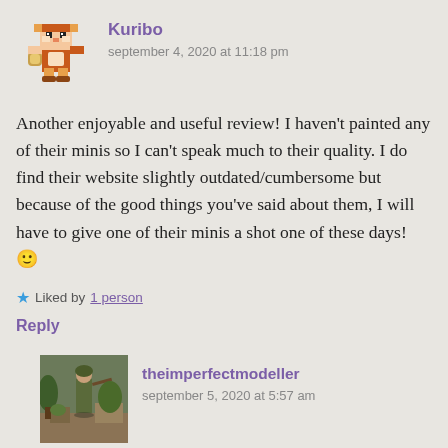[Figure (illustration): Pixel art avatar of Tanooki Mario character (orange and white raccoon suit), video game style]
Kuribo
september 4, 2020 at 11:18 pm
Another enjoyable and useful review! I haven't painted any of their minis so I can't speak much to their quality. I do find their website slightly outdated/cumbersome but because of the good things you've said about them, I will have to give one of their minis a shot one of these days! 🙂
★ Liked by 1 person
Reply
[Figure (photo): Photo of a person in camouflage or outdoor clothing, appears to be a miniature figure or diorama]
theimperfectmodeller
september 5, 2020 at 5:57 am